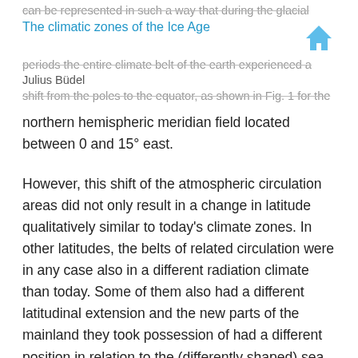can be represented in such a way that during the glacial
The climatic zones of the Ice Age
periods the entire climate belt of the earth experienced a Julius Büdel shift from the poles to the equator, as shown in Fig. 1 for the northern hemispheric meridian field located between 0 and 15° east.
However, this shift of the atmospheric circulation areas did not only result in a change in latitude qualitatively similar to today's climate zones. In other latitudes, the belts of related circulation were in any case also in a different radiation climate than today. Some of them also had a different latitudinal extension and the new parts of the mainland they took possession of had a different position in relation to the (differently shaped) sea surfaces than today. From the outset, therefore, it must seem impossible to attempt an exhaustive description of the Ice Age climate in its relationship to the present climate by means of the change in a single climatic element or even a single figure (such as a